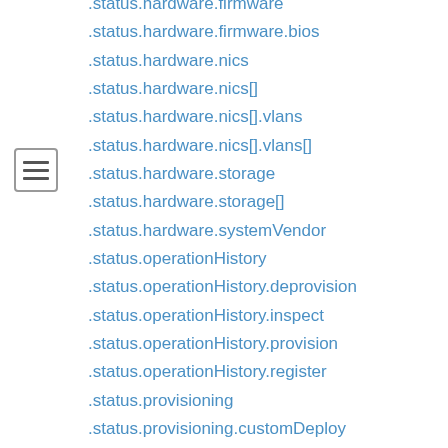.status.hardware.firmware
.status.hardware.firmware.bios
.status.hardware.nics
.status.hardware.nics[]
.status.hardware.nics[].vlans
.status.hardware.nics[].vlans[]
.status.hardware.storage
.status.hardware.storage[]
.status.hardware.systemVendor
.status.operationHistory
.status.operationHistory.deprovision
.status.operationHistory.inspect
.status.operationHistory.provision
.status.operationHistory.register
.status.provisioning
.status.provisioning.customDeploy
.status.provisioning.firmware